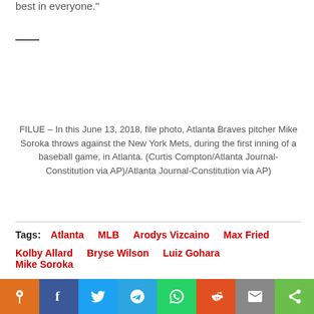best in everyone."
FILUE – In this June 13, 2018, file photo, Atlanta Braves pitcher Mike Soroka throws against the New York Mets, during the first inning of a baseball game, in Atlanta. (Curtis Compton/Atlanta Journal-Constitution via AP)/Atlanta Journal-Constitution via AP)
Tags: Atlanta  MLB  Arodys Vizcaino  Max Fried  Kolby Allard  Bryse Wilson  Luiz Gohara  Mike Soroka  Kyle Wright
[Figure (other): Social sharing bar with icons: pin, facebook, twitter, telegram, whatsapp, reddit, mail, share]